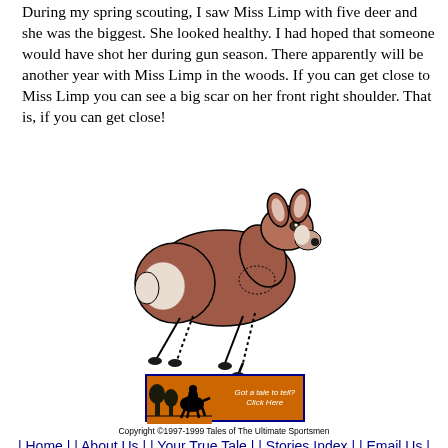During my spring scouting, I saw Miss Limp with five deer and she was the biggest. She looked healthy. I had hoped that someone would have shot her during gun season. There apparently will be another year with Miss Limp in the woods. If you can get close to Miss Limp you can see a big scar on her front right shoulder. That is, if you can get close!
[Figure (illustration): Illustration of a white-tailed doe (Miss Limp) in a walking/limping pose, brown body with white markings, black outlines, with a dotted line indicating an injured front right shoulder area]
[Figure (infographic): Orange banner with dark blue border, silhouette of a horse and rider on the left, text 'Got a tale to tell? Click Here' in white italic font on the right]
Copyright ©1997-1999 Tales of The Ultimate Sportsmen
| Home | | About Us | | Your True Tale | | Stories Index | | Email Us |